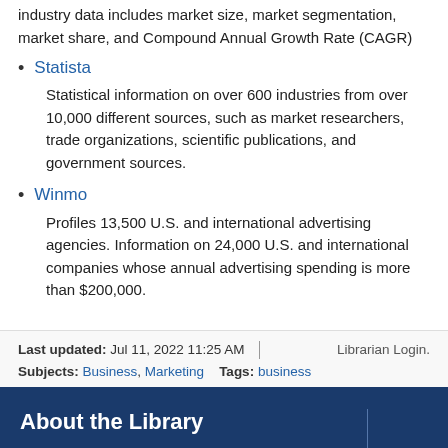industry data includes market size, market segmentation, market share, and Compound Annual Growth Rate (CAGR)
Statista — Statistical information on over 600 industries from over 10,000 different sources, such as market researchers, trade organizations, scientific publications, and government sources.
Winmo — Profiles 13,500 U.S. and international advertising agencies. Information on 24,000 U.S. and international companies whose annual advertising spending is more than $200,000.
Last updated: Jul 11, 2022 11:25 AM | Librarian Login.
Subjects: Business, Marketing   Tags: business
About the Library
Quick Links +
Directions